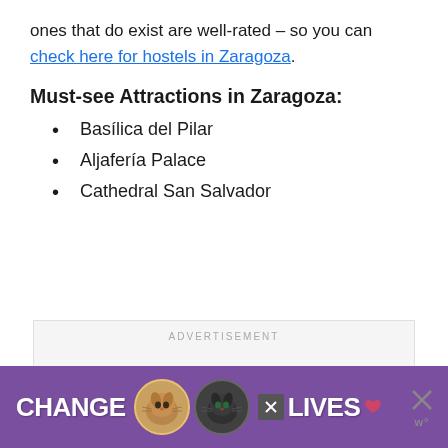ones that do exist are well-rated – so you can check here for hostels in Zaragoza.
Must-see Attractions in Zaragoza:
Basílica del Pilar
Aljafería Palace
Cathedral San Salvador
[Figure (other): Advertisement placeholder box with gray background and 'ADVERTISEMENT' text label]
[Figure (other): Banner advertisement with purple background showing 'CHANGE LIVES' text with cat photos and close button]